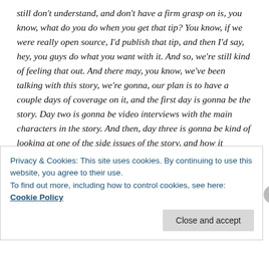still don't understand, and don't have a firm grasp on is, you know, what do you do when you get that tip? You know, if we were really open source, I'd publish that tip, and then I'd say, hey, you guys do what you want with it. And so, we're still kind of feeling that out. And there may, you know, we've been talking with this story, we're gonna, our plan is to have a couple days of coverage on it, and the first day is gonna be the story. Day two is gonna be video interviews with the main characters in the story. And then, day three is gonna be kind of looking at one of the side issues of the story, and how it impacts people here in Chicago. But then after that, I think, you know, we're probably gonna toss up a blog post and say here's what we don't know. And then promote that pretty heavily to local bloggers and local writers and journalists
Privacy & Cookies: This site uses cookies. By continuing to use this website, you agree to their use.
To find out more, including how to control cookies, see here: Cookie Policy
Close and accept